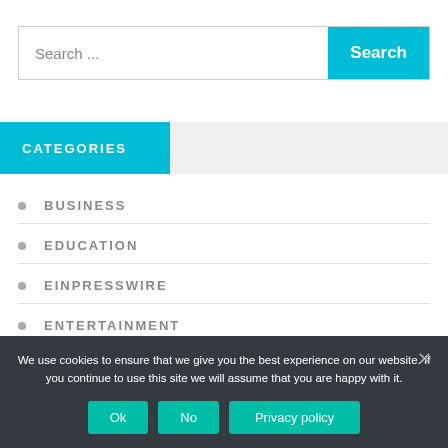[Figure (screenshot): Search bar with text 'Search ...' placeholder and a teal 'Search' button on the right]
CATEGORIES
BUSINESS
EDUCATION
EINPRESSWIRE
ENTERTAINMENT
We use cookies to ensure that we give you the best experience on our website. If you continue to use this site we will assume that you are happy with it.
Ok  No  Privacy policy